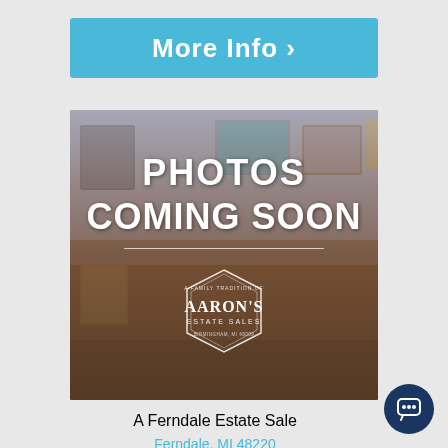[Figure (other): Blue 'More Info >' button/banner]
[Figure (photo): Blurred room interior with 'PHOTOS COMING SOON' text overlay and Aaron's Estate Sales logo badge in center]
A Ferndale Estate Sale
Ferndale, MI 48220